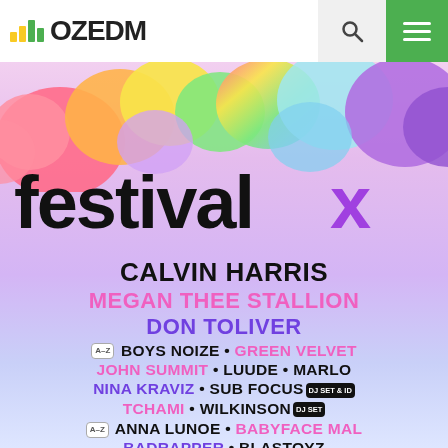[Figure (logo): OZEDM website logo with green bar chart icon and black text]
[Figure (infographic): Festival X music festival poster with colorful cloud illustrations and lineup text. Headliners: Calvin Harris, Megan Thee Stallion, Don Toliver. Other acts: Boys Noize, Green Velvet, John Summit, Luude, Marlo, Nina Kraviz, Sub Focus (DJ Set & ID), Tchami, Wilkinson (DJ Set), Anna Lunoe, Babyface Mal, Badrapper, Blastoyz, Choomba, Cosmic Gate, Franky Rizardo, Haliene, Key4050 feat. John O'Callaghan & Bryan Kearney, Laura King, Nifra, Nora En Pure, Prospa, Solardo, Sunset Bros]